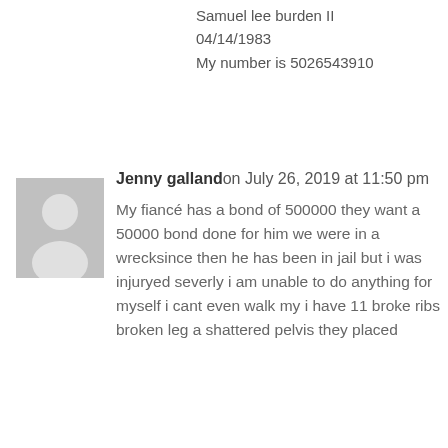Samuel lee burden II
04/14/1983
My number is 5026543910
[Figure (illustration): Generic grey avatar icon showing a silhouette of a person (head and shoulders)]
Jenny gallandon July 26, 2019 at 11:50 pm

My fiancé has a bond of 500000 they want a 50000 bond done for him we were in a wrecksince then he has been in jail but i was injuryed severly i am unable to do anything for myself i cant even walk my i have 11 broke ribs broken leg a shattered pelvis they placed